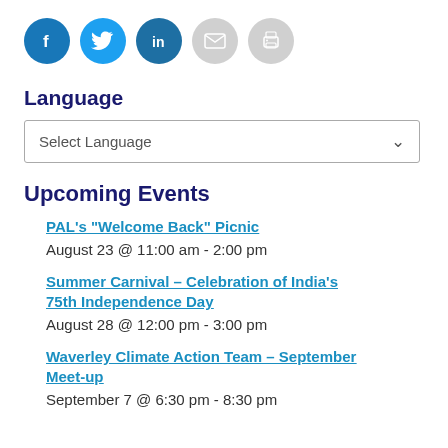[Figure (other): Row of five social sharing icon circles: Facebook (blue), Twitter (light blue), LinkedIn (dark blue), Email (grey), Print (grey)]
Language
Select Language
Upcoming Events
PAL's "Welcome Back" Picnic
August 23 @ 11:00 am - 2:00 pm
Summer Carnival – Celebration of India's 75th Independence Day
August 28 @ 12:00 pm - 3:00 pm
Waverley Climate Action Team – September Meet-up
September 7 @ 6:30 pm - 8:30 pm